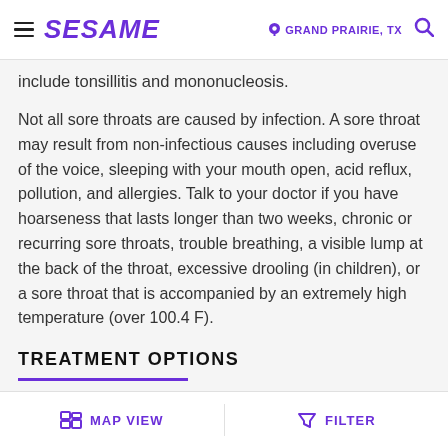SESAME — GRAND PRAIRIE, TX
include tonsillitis and mononucleosis.
Not all sore throats are caused by infection. A sore throat may result from non-infectious causes including overuse of the voice, sleeping with your mouth open, acid reflux, pollution, and allergies. Talk to your doctor if you have hoarseness that lasts longer than two weeks, chronic or recurring sore throats, trouble breathing, a visible lump at the back of the throat, excessive drooling (in children), or a sore throat that is accompanied by an extremely high temperature (over 100.4 F).
TREATMENT OPTIONS
Treatment options for sore throats depend on its…
MAP VIEW   FILTER